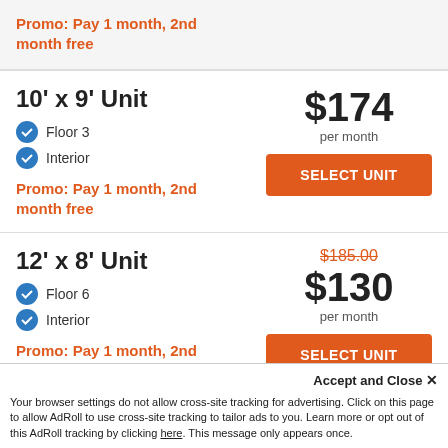Promo: Pay 1 month, 2nd month free
10' x 9' Unit
Floor 3
Interior
Promo: Pay 1 month, 2nd month free
$174 per month
12' x 8' Unit
Floor 6
Interior
Promo: Pay 1 month, 2nd month free
$185.00 (original) $130 per month
Accept and Close ✕ Your browser settings do not allow cross-site tracking for advertising. Click on this page to allow AdRoll to use cross-site tracking to tailor ads to you. Learn more or opt out of this AdRoll tracking by clicking here. This message only appears once.